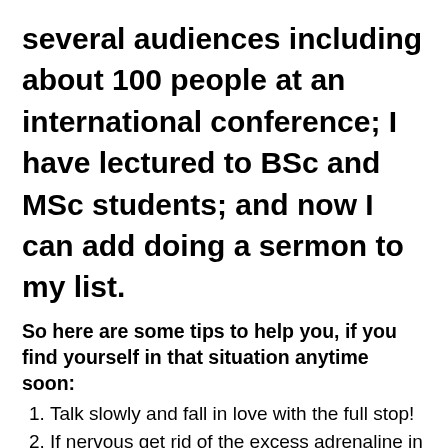several audiences including about 100 people at an international conference; I have lectured to BSc and MSc students; and now I can add doing a sermon to my list.
So here are some tips to help you, if you find yourself in that situation anytime soon:
Talk slowly and fall in love with the full stop!
If nervous get rid of the excess adrenaline in advance by either shaking out your hands or by doing some rhythmic breathing (longer on the out-breath).
An old cliche, but true – speak to the person at the